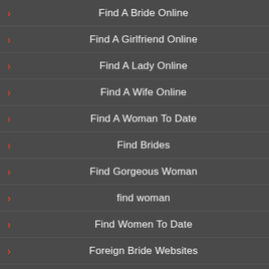Find A Bride Online
Find A Girlfriend Online
Find A Lady Online
Find A Wife Online
Find A Woman To Date
Find Brides
Find Gorgeous Woman
find woman
Find Women To Date
Foreign Bride Websites